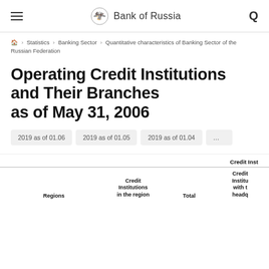Bank of Russia
Statistics › Banking Sector › Quantitative characteristics of Banking Sector of the Russian Federation
Operating Credit Institutions and Their Branches as of May 31, 2006
2019 as of 01.06   2019 as of 01.05   2019 as of 01.04
| Regions | Credit Institutions in the region | Total | Credit Institutions with their headquarters |
| --- | --- | --- | --- |